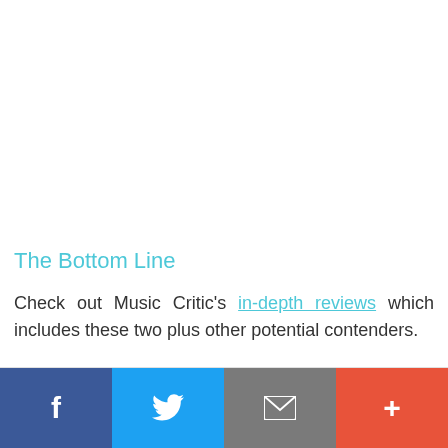The Bottom Line
Check out Music Critic's in-depth reviews which includes these two plus other potential contenders.
[Figure (other): Social share bar with four buttons: Facebook (dark blue), Twitter (light blue), Email (grey), and More/Plus (red-orange)]